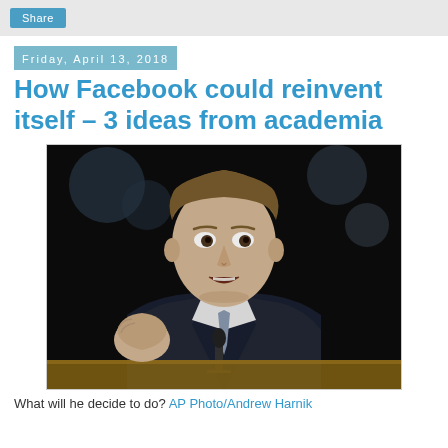Share
Friday, April 13, 2018
How Facebook could reinvent itself – 3 ideas from academia
[Figure (photo): Photo of Mark Zuckerberg speaking at a Senate hearing, gesturing with his fist raised, wearing a suit, with a microphone in front of him and a wooden desk visible at the bottom.]
What will he decide to do? AP Photo/Andrew Harnik